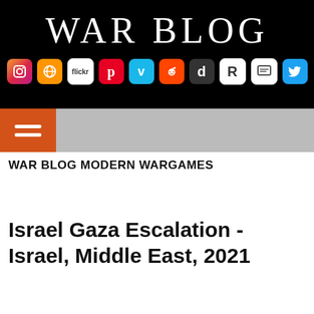WAR BLOG
[Figure (other): Row of social media icons: Instagram, Firefox/Globe, Flickr, Pinterest, Vimeo, Reddit, Dailymotion, Rotten Tomatoes, Chat/Comment, Twitter]
[Figure (other): Orange hamburger menu button on gray navigation bar]
WAR BLOG MODERN WARGAMES
Israel Gaza Escalation - Israel, Middle East, 2021